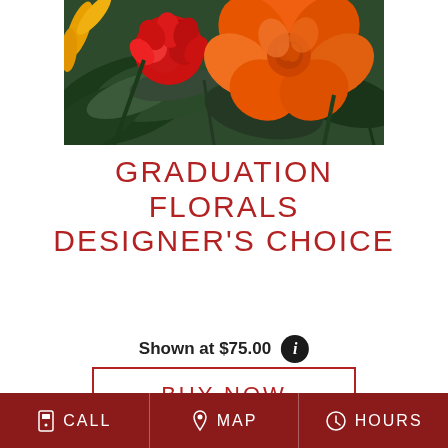[Figure (photo): Close-up photo of graduation floral arrangement featuring orange roses, red carnations, and dark green tropical leaves]
GRADUATION FLORALS DESIGNER'S CHOICE
Shown at $75.00
BUY NOW
CALL  MAP  HOURS